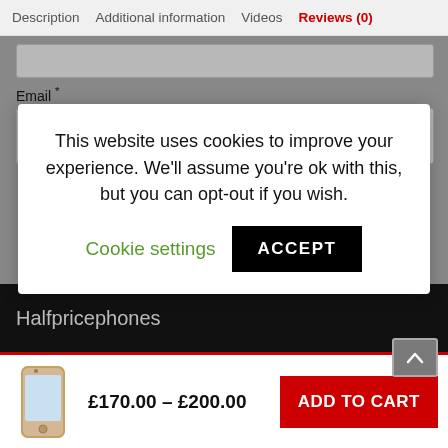Description  Additional information  Videos  Reviews (0)
Email *
This website uses cookies to improve your experience. We'll assume you're ok with this, but you can opt-out if you wish.  Cookie settings  ACCEPT
Halfpricephones
£170.00 – £200.00
ADD TO CART